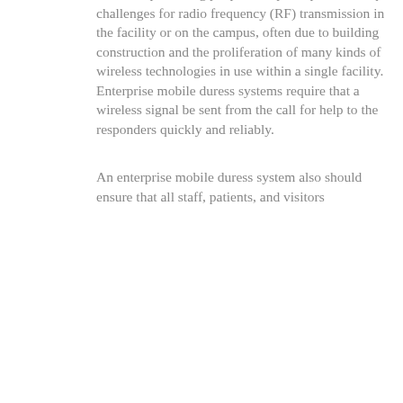comes to protecting people. Hospitals present unique challenges for radio frequency (RF) transmission in the facility or on the campus, often due to building construction and the proliferation of many kinds of wireless technologies in use within a single facility. Enterprise mobile duress systems require that a wireless signal be sent from the call for help to the responders quickly and reliably.
An enterprise mobile duress system also should ensure that all staff, patients, and visitors